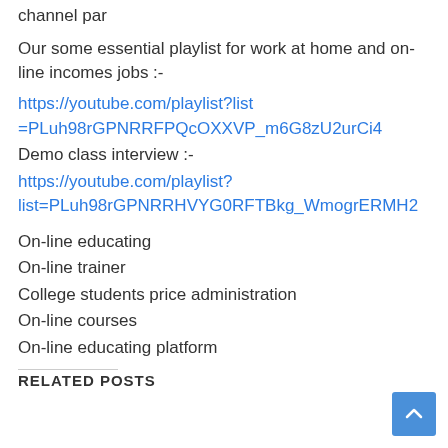channel par
Our some essential playlist for work at home and on-line incomes jobs :-
https://youtube.com/playlist?list=PLuh98rGPNRRFPQcOXXVP_m6G8zU2urCi4
Demo class interview :-
https://youtube.com/playlist?list=PLuh98rGPNRRHVYG0RFTBkg_WmogrERMH2
On-line educating
On-line trainer
College students price administration
On-line courses
On-line educating platform
RELATED POSTS